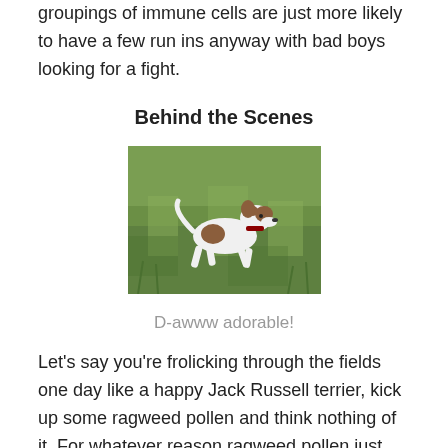groupings of immune cells are just more likely to have a few run ins anyway with bad boys looking for a fight.
Behind the Scenes
[Figure (photo): A Jack Russell terrier running through a green grassy field]
D-awww adorable!
Let's say you're frolicking through the fields one day like a happy Jack Russell terrier, kick up some ragweed pollen and think nothing of it. For whatever reason ragweed pollen just rubs your white cells the wrong way (meaning white cells possess a membrane receptor that matches the antigenic determinant of the pollen granule and become sensitized on contact). Over the next few weeks